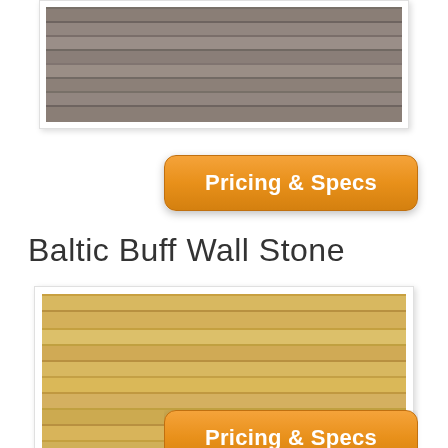[Figure (photo): Close-up photo of gray stacked wall stone (upper portion visible), horizontal layered stone panels in dark gray/taupe tones]
[Figure (screenshot): Orange rounded button labeled 'Pricing & Specs']
Baltic Buff Wall Stone
[Figure (photo): Close-up photo of Baltic Buff wall stone, horizontal layered stone panels in warm buff/tan tones]
[Figure (screenshot): Orange rounded button labeled 'Pricing & Specs' (partially visible at bottom)]